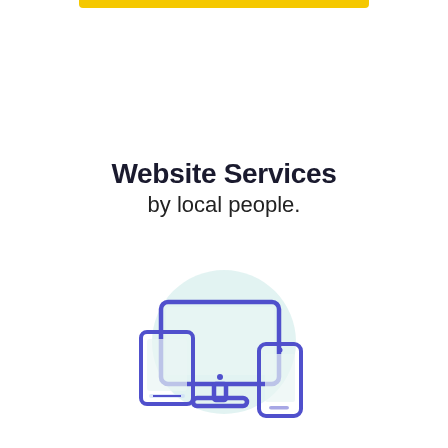Website Services
by local people.
[Figure (illustration): Icon of a desktop monitor, tablet, and smartphone representing web design and development on a light teal circular background]
Web Design & Development